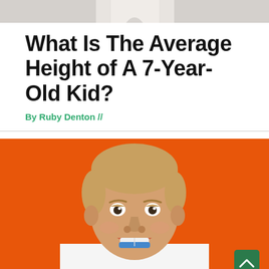[Figure (photo): Partial top banner image of a child, cropped, light gray background]
What Is The Average Height of A 7-Year-Old Kid?
By Ruby Denton //
[Figure (photo): Close-up photo of a young blonde boy smiling with a blue mouthguard/gum, wearing a white shirt, on an orange background. A green scroll-to-top button is in the bottom right corner.]